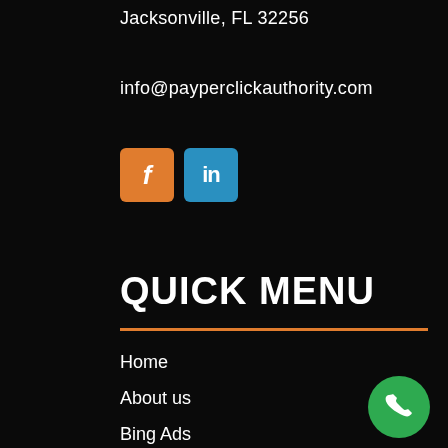Jacksonville, FL 32256
info@payperclickauthority.com
[Figure (other): Facebook (orange square with f) and LinkedIn (blue square with in) social media icon buttons]
QUICK MENU
Home
About us
Bing Ads
Blog
Click Fraud Protection
[Figure (other): Green circular phone/call button in bottom right corner]